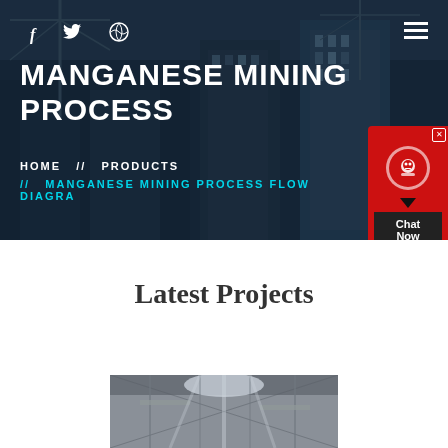[Figure (photo): Hero banner with city construction cranes and buildings in dark blue overlay background]
MANGANESE MINING PROCESS
HOME // PRODUCTS // MANGANESE MINING PROCESS FLOW DIAGRA
[Figure (infographic): Chat Now widget with red background and headset icon]
Latest Projects
[Figure (photo): Industrial interior photo showing scaffolding and construction work]